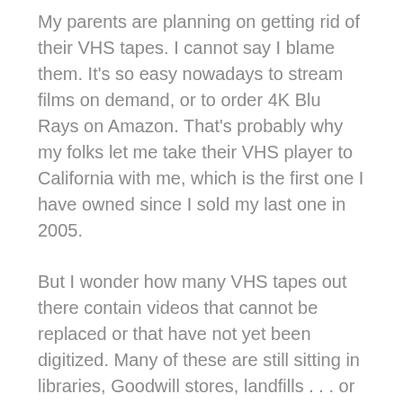My parents are planning on getting rid of their VHS tapes. I cannot say I blame them. It's so easy nowadays to stream films on demand, or to order 4K Blu Rays on Amazon. That's probably why my folks let me take their VHS player to California with me, which is the first one I have owned since I sold my last one in 2005.
But I wonder how many VHS tapes out there contain videos that cannot be replaced or that have not yet been digitized. Many of these are still sitting in libraries, Goodwill stores, landfills . . . or perhaps you own a few yourself. If so, then what are you waiting for? They are not getting younger, and every year that passes, the tapes continue to degrade further. Digitize the ones you want to keep, or that might otherwise be